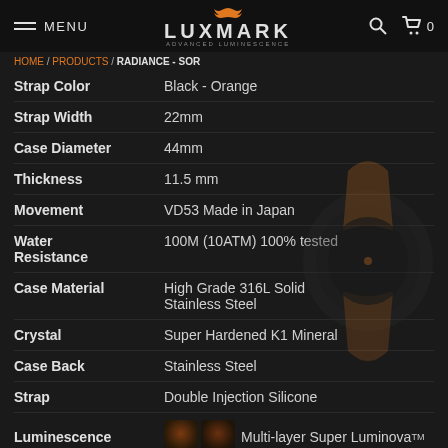MENU | LUXMARK ADVANCED LUMINESCENCE | Search | Cart 0
HOME / PRODUCTS / RADIANCE - SOR
| Specification | Value |
| --- | --- |
| Strap Color | Black - Orange |
| Strap Width | 22mm |
| Case Diameter | 44mm |
| Thickness | 11.5 mm |
| Movement | VD53 Made in Japan |
| Water Resistance | 100M (10ATM) 100% tested |
| Case Material | High Grade 316L Solid Stainless Steel |
| Crystal | Super Hardened K1 Mineral |
| Case Back | Stainless Steel |
| Strap | Double Injection Silicone |
| Luminescence | Multi-layer Super LuminovaTM |